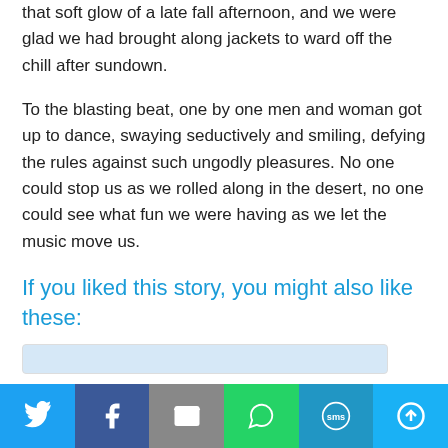that soft glow of a late fall afternoon, and we were glad we had brought along jackets to ward off the chill after sundown.
To the blasting beat, one by one men and woman got up to dance, swaying seductively and smiling, defying the rules against such ungodly pleasures. No one could stop us as we rolled along in the desert, no one could see what fun we were having as we let the music move us.
If you liked this story, you might also like these:
[Figure (other): A partially visible thumbnail image box with light blue background at the bottom of the content area]